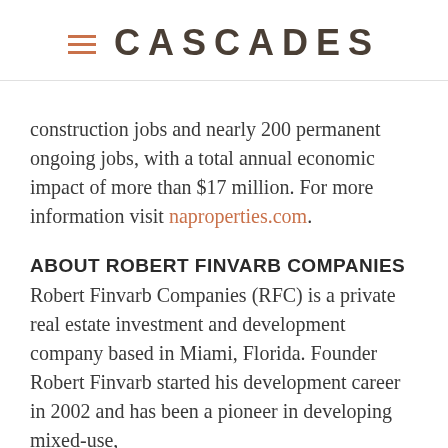CASCADES
construction jobs and nearly 200 permanent ongoing jobs, with a total annual economic impact of more than $17 million. For more information visit naproperties.com.
ABOUT ROBERT FINVARB COMPANIES
Robert Finvarb Companies (RFC) is a private real estate investment and development company based in Miami, Florida. Founder Robert Finvarb started his development career in 2002 and has been a pioneer in developing mixed-use,